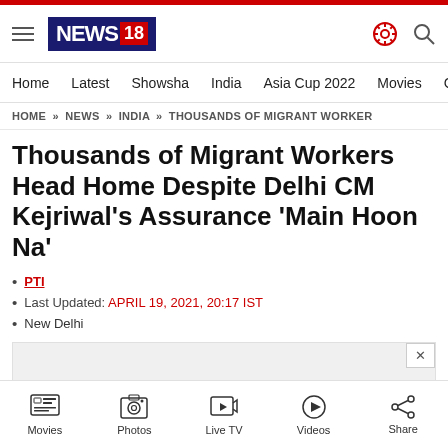NEWS18 - Home | Latest | Showsha | India | Asia Cup 2022 | Movies | Cricket
HOME » NEWS » INDIA » THOUSANDS OF MIGRANT WORKERS
Thousands of Migrant Workers Head Home Despite Delhi CM Kejriwal's Assurance 'Main Hoon Na'
PTI
Last Updated: APRIL 19, 2021, 20:17 IST
New Delhi
Movies | Photos | Live TV | Videos | Share